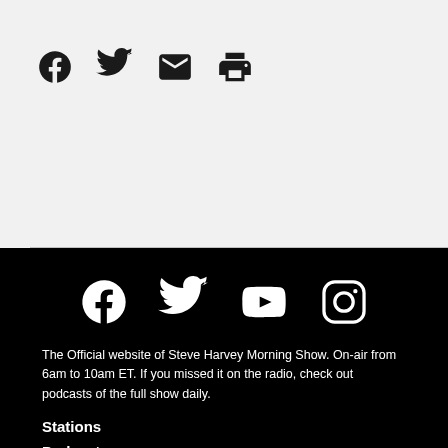[Figure (infographic): Social share icons: Facebook, Twitter, Email, Print]
[Figure (infographic): Social media icons on black background: Facebook, Twitter, YouTube, Instagram]
The Official website of Steve Harvey Morning Show. On-air from 6am to 10am ET. If you missed it on the radio, check out podcasts of the full show daily.
Stations
Podcasts